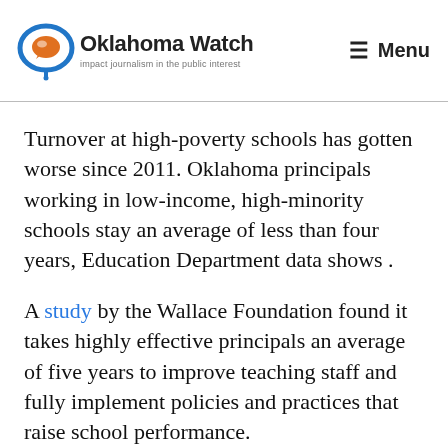Oklahoma Watch — Menu
Turnover at high-poverty schools has gotten worse since 2011. Oklahoma principals working in low-income, high-minority schools stay an average of less than four years, Education Department data shows .
A study by the Wallace Foundation found it takes highly effective principals an average of five years to improve teaching staff and fully implement policies and practices that raise school performance.
“We know it’s not good for a school to have a